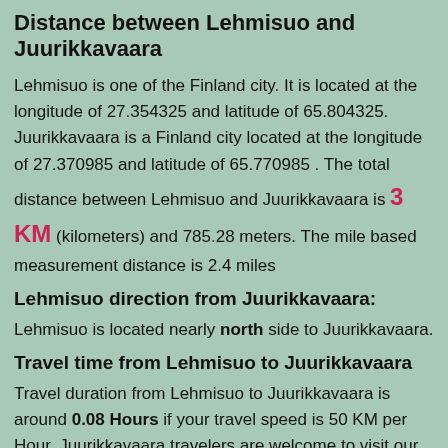Distance between Lehmisuo and Juurikkavaara
Lehmisuo is one of the Finland city. It is located at the longitude of 27.354325 and latitude of 65.804325. Juurikkavaara is a Finland city located at the longitude of 27.370985 and latitude of 65.770985 . The total distance between Lehmisuo and Juurikkavaara is 3 KM (kilometers) and 785.28 meters. The mile based measurement distance is 2.4 miles
Lehmisuo direction from Juurikkavaara:
Lehmisuo is located nearly north side to Juurikkavaara.
Travel time from Lehmisuo to Juurikkavaara
Travel duration from Lehmisuo to Juurikkavaara is around 0.08 Hours if your travel speed is 50 KM per Hour. Juurikkavaara travelers are welcome to visit our travel driving direction page for detail information with road map. Traveling from Lehmisuo to Juurikkavaara is connected by more than one route. Soon you may expect those